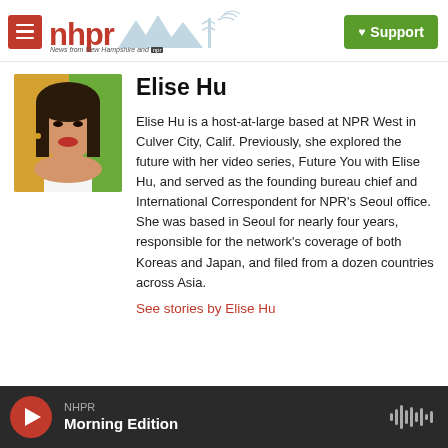nhpr — News from New Hampshire and NPR | Support
[Figure (photo): Portrait photo of Elise Hu, a woman with long dark hair, smiling, wearing a white top, with a colorful background]
Elise Hu
Elise Hu is a host-at-large based at NPR West in Culver City, Calif. Previously, she explored the future with her video series, Future You with Elise Hu, and served as the founding bureau chief and International Correspondent for NPR's Seoul office. She was based in Seoul for nearly four years, responsible for the network's coverage of both Koreas and Japan, and filed from a dozen countries across Asia.
See stories by Elise Hu
NHPR Morning Edition